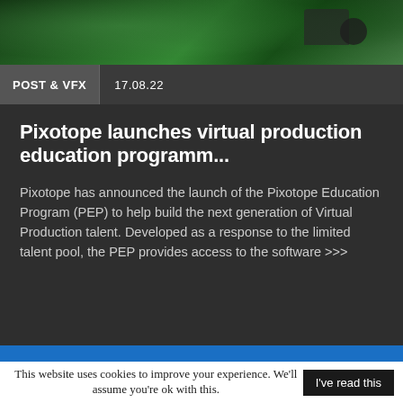[Figure (photo): Green screen film studio with camera equipment and crew silhouettes visible against a bright green background]
POST & VFX   17.08.22
Pixotope launches virtual production education programm...
Pixotope has announced the launch of the Pixotope Education Program (PEP) to help build the next generation of Virtual Production talent. Developed as a response to the limited talent pool, the PEP provides access to the software >>>
This website uses cookies to improve your experience. We'll assume you're ok with this. I've read this